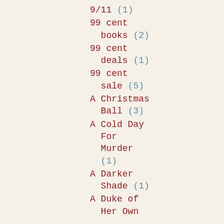9/11 (1)
99 cent books (2)
99 cent deals (1)
99 cent sale (5)
A Christmas Ball (3)
A Cold Day For Murder (1)
A Darker Shade (1)
A Duke of Her Own